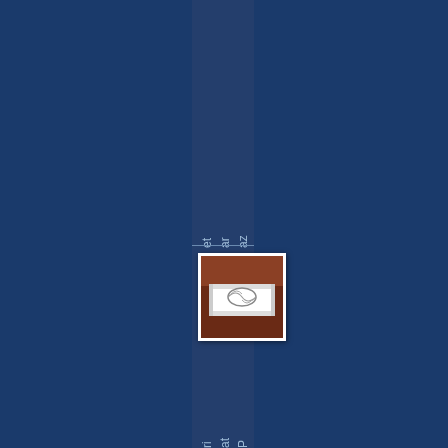azarethfanson on here the then.
[Figure (photo): Small photograph showing a white decorative architectural element (possibly a capital or carved stone detail with ornamental design) in front of a brick or red background.]
Patrick Crozier